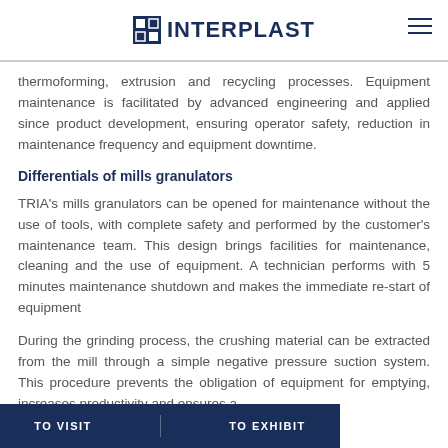INTERPLAST
thermoforming, extrusion and recycling processes. Equipment maintenance is facilitated by advanced engineering and applied since product development, ensuring operator safety, reduction in maintenance frequency and equipment downtime.
Differentials of mills granulators
TRIA's mills granulators can be opened for maintenance without the use of tools, with complete safety and performed by the customer's maintenance team. This design brings facilities for maintenance, cleaning and the use of equipment. A technician performs with 5 minutes maintenance shutdown and makes the immediate re-start of equipment
During the grinding process, the crushing material can be extracted from the mill through a simple negative pressure suction system. This procedure prevents the obligation of equipment for emptying, increases productivity and ensures a